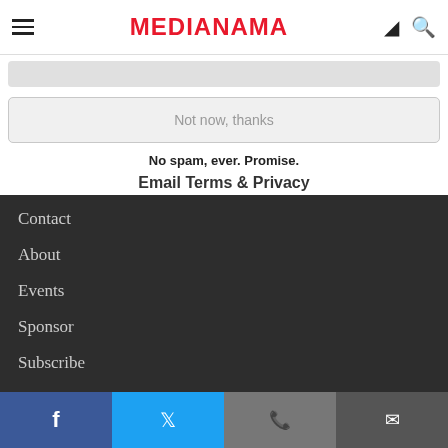MEDIANAMA
[Figure (screenshot): Input box (gray/light) partially visible at top of card area]
Not now, thanks
No spam, ever. Promise.
Email Terms & Privacy
Contact
About
Events
Sponsor
Subscribe
Careers
Support
Terms Of Use
Facebook | Twitter | WhatsApp | Email share buttons